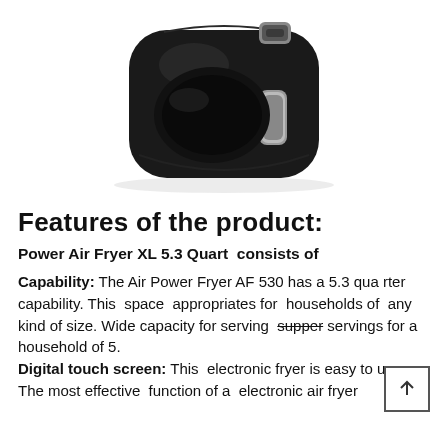[Figure (photo): Black Power Air Fryer XL appliance with silver handle, viewed from above at slight angle on white background]
Features of the product:
Power Air Fryer XL 5.3 Quart  consists of
Capability: The Air Power Fryer AF 530 has a 5.3 quarter  capability. This  space  appropriates for  households of  any kind of size. Wide capacity for serving supper servings for a  household of 5. Digital touch screen: This  electronic fryer is easy to use.  The most effective  function of a  electronic air fryer